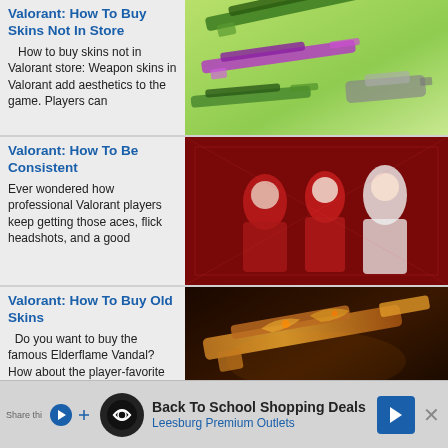Valorant: How To Buy Skins Not In Store
How to buy skins not in Valorant store: Weapon skins in Valorant add aesthetics to the game. Players can
[Figure (photo): Valorant weapon skins on gradient green background]
Valorant: How To Be Consistent
Ever wondered how professional Valorant players keep getting those aces, flick headshots, and a good
[Figure (photo): Valorant characters on red background]
Valorant: How To Buy Old Skins
Do you want to buy the famous Elderflame Vandal? How about the player-favorite Prime Phantom? Since skin
[Figure (photo): Dark golden Valorant weapon skin]
Valorant: How To Attack
Valorant is a tactical FPS...
[Figure (photo): Valorant characters on red background for attack article]
Back To School Shopping Deals  Leesburg Premium Outlets